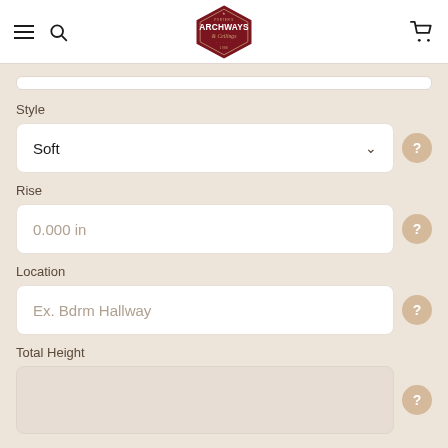[Figure (logo): Archways and Ceilings hexagonal logo in dark red/maroon with star at top]
Style
Soft
Rise
0.000 in
Location
Ex. Bdrm Hallway
Total Height